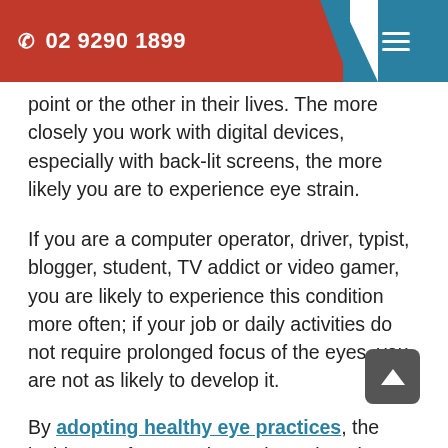☎ 02 9290 1899
point or the other in their lives. The more closely you work with digital devices, especially with back-lit screens, the more likely you are to experience eye strain.
If you are a computer operator, driver, typist, blogger, student, TV addict or video gamer, you are likely to experience this condition more often; if your job or daily activities do not require prolonged focus of the eyes, you are not as likely to develop it.
By adopting healthy eye practices, the incidence of eye strain can be reduced, no matter the stress